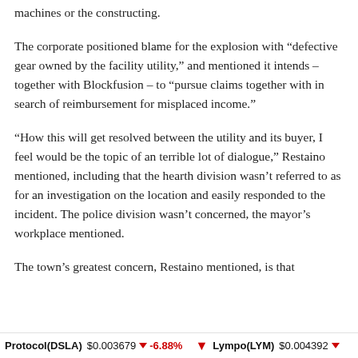machines or the constructing.
The corporate positioned blame for the explosion with “defective gear owned by the facility utility,” and mentioned it intends – together with Blockfusion – to “pursue claims together with in search of reimbursement for misplaced income.”
“How this will get resolved between the utility and its buyer, I feel would be the topic of an terrible lot of dialogue,” Restaino mentioned, including that the hearth division wasn’t referred to as for an investigation on the location and easily responded to the incident. The police division wasn’t concerned, the mayor’s workplace mentioned.
The town’s greatest concern, Restaino mentioned, is that
Protocol(DSLA) $0.003679 ↓ -6.88%   Lympo(LYM) $0.004392 ↓